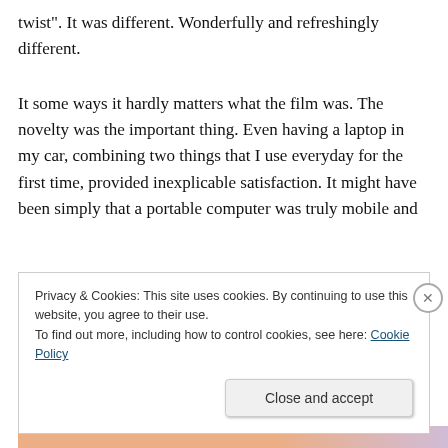twist". It was different. Wonderfully and refreshingly different.
It some ways it hardly matters what the film was. The novelty was the important thing. Even having a laptop in my car, combining two things that I use everyday for the first time, provided inexplicable satisfaction. It might have been simply that a portable computer was truly mobile and
Privacy & Cookies: This site uses cookies. By continuing to use this website, you agree to their use.
To find out more, including how to control cookies, see here: Cookie Policy